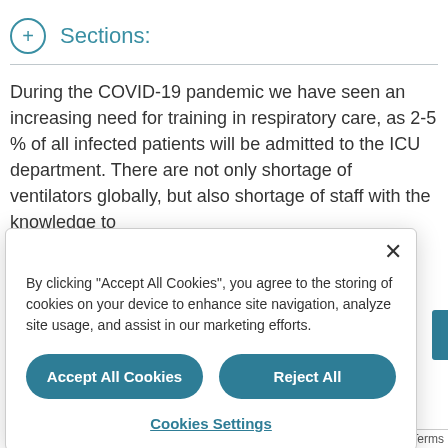Sections:
During the COVID-19 pandemic we have seen an increasing need for training in respiratory care, as 2-5 % of all infected patients will be admitted to the ICU department. There are not only shortage of ventilators globally, but also shortage of staff with the knowledge to
By clicking "Accept All Cookies", you agree to the storing of cookies on your device to enhance site navigation, analyze site usage, and assist in our marketing efforts.
Accept All Cookies
Reject All
Cookies Settings